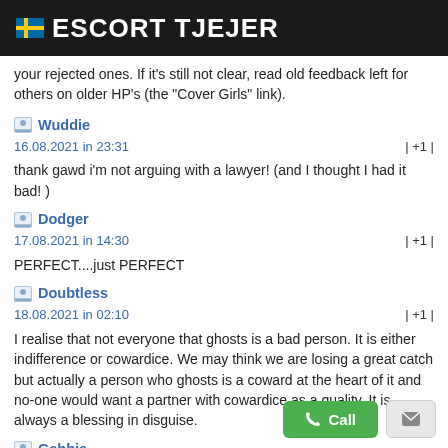🇸🇪 ESCORT TJEJER
your rejected ones. If it's still not clear, read old feedback left for others on older HP's (the "Cover Girls" link).
Wuddie
16.08.2021 in 23:31
| +1 |
thank gawd i'm not arguing with a lawyer! (and I thought I had it bad! )
Dodger
17.08.2021 in 14:30
| +1 |
PERFECT....just PERFECT
Doubtless
18.08.2021 in 02:10
| +1 |
I realise that not everyone that ghosts is a bad person. It is either indifference or cowardice. We may think we are losing a great catch but actually a person who ghosts is a coward at the heart of it and no-one would want a partner with cowardice as a quality. It is always a blessing in disguise.
Gebbie
18.08.2021 in 02:59
| +1 |